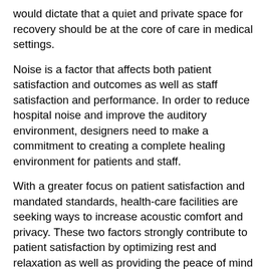would dictate that a quiet and private space for recovery should be at the core of care in medical settings.
Noise is a factor that affects both patient satisfaction and outcomes as well as staff satisfaction and performance. In order to reduce hospital noise and improve the auditory environment, designers need to make a commitment to creating a complete healing environment for patients and staff.
With a greater focus on patient satisfaction and mandated standards, health-care facilities are seeking ways to increase acoustic comfort and privacy. These two factors strongly contribute to patient satisfaction by optimizing rest and relaxation as well as providing the peace of mind of confidentiality. By incorporating sound-masking strategies in health-care settings, patients are able to sleep better, resulting in an improvement of medical outcomes.
It is no secret that noise is a significant issue for many hospitals. It has been found that there are typically no fewer than 86 different sources, including patients, staff, and visitors talking; an abundance of sounds from televisions, alarms, carts, and doors;